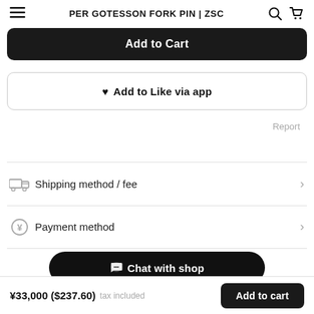PER GOTESSON FORK PIN | ZSC
Add to Cart
♥ Add to Like via app
Report
Shipping method / fee
Payment method
Chat with shop
RECENTLY VIEWED
¥33,000 ($237.60) tax included   Add to cart